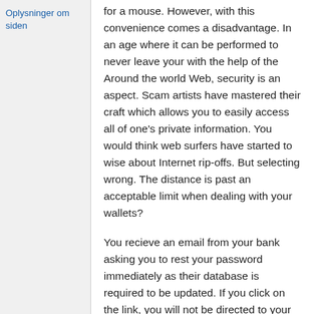Oplysninger om siden
for a mouse. However, with this convenience comes a disadvantage. In an age where it can be performed to never leave your with the help of the Around the world Web, security is an aspect. Scam artists have mastered their craft which allows you to easily access all of one's private information. You would think web surfers have started to wise about Internet rip-offs. But selecting wrong. The distance is past an acceptable limit when dealing with your wallets?
You recieve an email from your bank asking you to rest your password immediately as their database is required to be updated. If you click on the link, you will not be directed to your banks web source site. Even though it